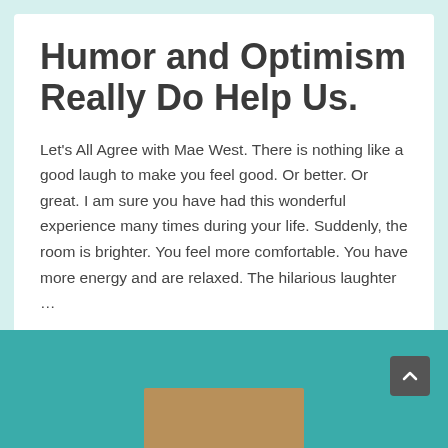Humor and Optimism Really Do Help Us.
Let's All Agree with Mae West. There is nothing like a good laugh to make you feel good. Or better. Or great. I am sure you have had this wonderful experience many times during your life. Suddenly, the room is brighter. You feel more comfortable. You have more energy and are relaxed. The hilarious laughter ...
Read More »
[Figure (photo): Teal footer bar with a back-to-top button (chevron up icon) in the bottom right and a partially visible photo strip at the bottom center]